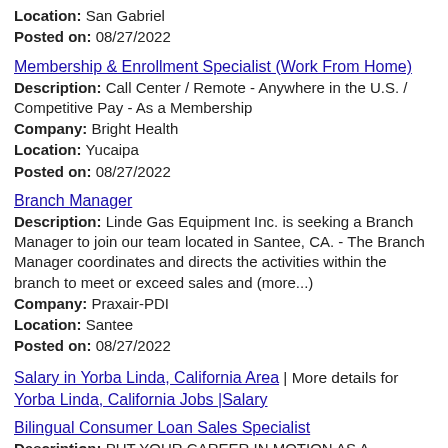Location: San Gabriel
Posted on: 08/27/2022
Membership & Enrollment Specialist (Work From Home)
Description: Call Center / Remote - Anywhere in the U.S. / Competitive Pay - As a Membership
Company: Bright Health
Location: Yucaipa
Posted on: 08/27/2022
Branch Manager
Description: Linde Gas Equipment Inc. is seeking a Branch Manager to join our team located in Santee, CA. - The Branch Manager coordinates and directs the activities within the branch to meet or exceed sales and (more...)
Company: Praxair-PDI
Location: Santee
Posted on: 08/27/2022
Salary in Yorba Linda, California Area | More details for Yorba Linda, California Jobs |Salary
Bilingual Consumer Loan Sales Specialist
Description: PUT YOUR CAREER IN MOTION AS A CONSUMER